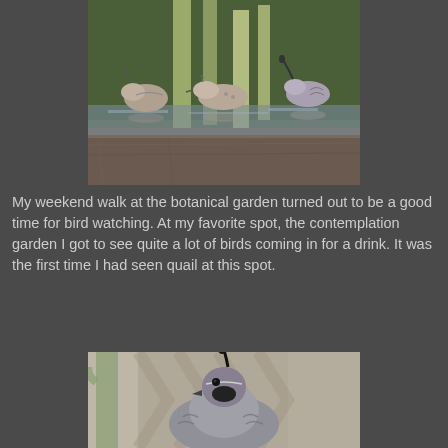[Figure (photo): Three birds (quail and doves) at a water feature in a botanical garden, with reflections visible in the water. Stone basin visible at the bottom of the image.]
My weekend walk at the botanical garden turned out to be a good time for bird watching.  At my favorite spot, the contemplation garden I got to see quite a lot of birds coming in for a drink.  It was the first time I had seen quail at this spot.
[Figure (photo): Close-up photograph of a California quail bird, showing its distinctive curved head plume, gray and brown plumage, against a blurred background of plants.]